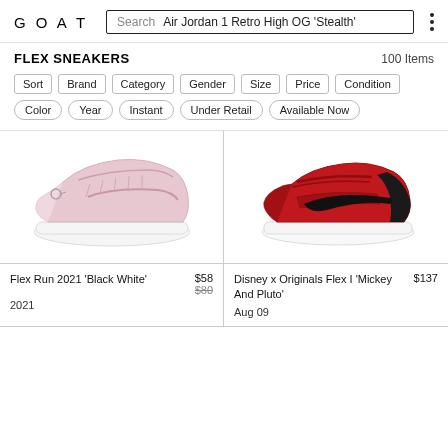GOAT  Search  Air Jordan 1 Retro High OG 'Stealth'
FLEX SNEAKERS
100 Items
Sort
Brand
Category
Gender
Size
Price
Condition
Color
Year
Instant
Under Retail
Available Now
[Figure (photo): Pink/white Nike Flex Run 2021 sneaker, side view]
Flex Run 2021 'Black White'
2021
$58
$80
[Figure (photo): Red and black Nike Disney x Originals Flex I 'Mickey And Pluto' sneaker, side view]
Disney x Originals Flex I 'Mickey And Pluto'
Aug 09
$137